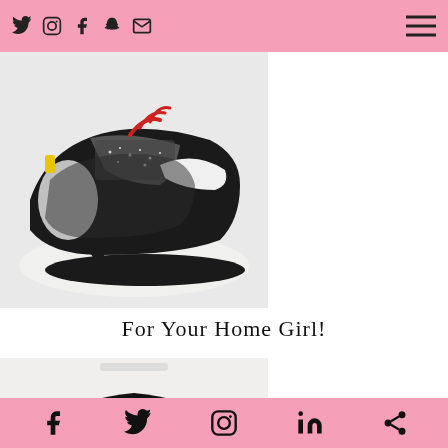Social icons navigation bar with Twitter, Instagram, Facebook, Snapchat, Email icons and hamburger menu
[Figure (photo): Close-up photo of a chunky glitter sneaker with black, silver, white, and red laces details, two shoes side by side on white background]
For Your Home Girl!
[Figure (photo): Black oversized blazer/jacket with pearl buttons and feather-trimmed cuffs on light background]
Social share bar with Facebook, Twitter, Instagram, LinkedIn, and Share icons